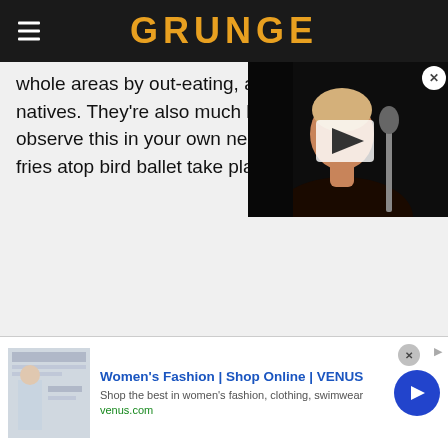GRUNGE
whole areas by out-eating, and out-breeding, natives. They're also much less disturb to observe this in your own ne container of french fries atop bird ballet take place.
[Figure (photo): Video thumbnail of a person singing into a microphone on a dark stage, with a play button overlay]
In addition to attacking native insects, they're also a pernicious agricultural pest, attacking freshly-sown fields and befouling livestock feed with their acidic, disease-ridden droppings. In sufficient numbers, they're even capable of taking down aircraft, so if you ever go back in
[Figure (other): Advertisement banner: Women's Fashion | Shop Online | VENUS. Shop the best in women's fashion, clothing, swimwear. venus.com]